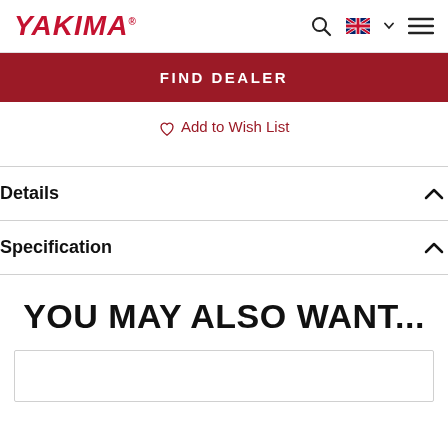YAKIMA
FIND DEALER
♡ Add to Wish List
Details
Specification
YOU MAY ALSO WANT...
[Figure (other): Product card placeholder (empty white box with border)]